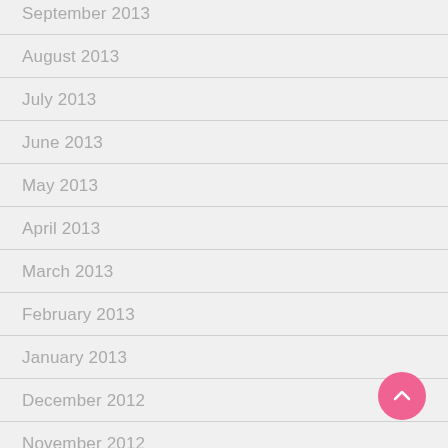September 2013
August 2013
July 2013
June 2013
May 2013
April 2013
March 2013
February 2013
January 2013
December 2012
November 2012